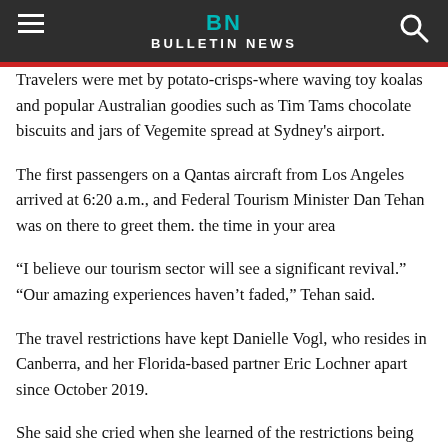BN BULLETIN NEWS
Travelers were met by potato-crisps-where waving toy koalas and popular Australian goodies such as Tim Tams chocolate biscuits and jars of Vegemite spread at Sydney's airport.
The first passengers on a Qantas aircraft from Los Angeles arrived at 6:20 a.m., and Federal Tourism Minister Dan Tehan was on there to greet them. the time in your area
“I believe our tourism sector will see a significant revival.” “Our amazing experiences haven’t faded,” Tehan said.
The travel restrictions have kept Danielle Vogl, who resides in Canberra, and her Florida-based partner Eric Lochner apart since October 2019.
She said she cried when she learned of the restrictions being lifted, which will allow them to reunite in April, and she called him to tell him.